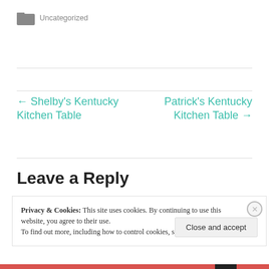Uncategorized
← Shelby's Kentucky Kitchen Table
Patrick's Kentucky Kitchen Table →
Leave a Reply
Privacy & Cookies: This site uses cookies. By continuing to use this website, you agree to their use.
To find out more, including how to control cookies, see here: Cookie Policy
Close and accept